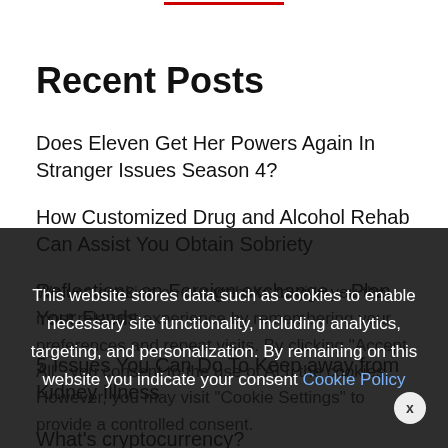Recent Posts
Does Eleven Get Her Powers Again In Stranger Issues Season 4?
How Customized Drug and Alcohol Rehab Can Assist You Obtain Sobriety
Reflections on Foreign exchange – Plan Your Funds
5 Issues You Can Do To Keep away from Kidney Illness
What's cryptocurrency?
We use cookies on our website to give you the most relevant experience by remembering your preferences and repeat visits. By clicking "Accept All", you consent to the use of ALL the cookies. However, you may visit "Cookie Settings" to provide a controlled consent.
This website stores data such as cookies to enable necessary site functionality, including analytics, targeting, and personalization. By remaining on this website you indicate your consent Cookie Policy